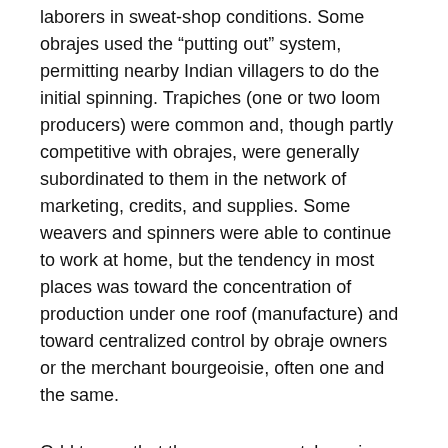laborers in sweat-shop conditions. Some obrajes used the “putting out” system, permitting nearby Indian villagers to do the initial spinning. Trapiches (one or two loom producers) were common and, though partly competitive with obrajes, were generally subordinated to them in the network of marketing, credits, and supplies. Some weavers and spinners were able to continue to work at home, but the tendency in most places was toward the concentration of production under one roof (manufacture) and toward centralized control by obraje owners or the merchant bourgeoisie, often one and the same.
Odd to see that there were sweatshops in Mexico City in 1604. Not much has changed.
Of course, Political Marxists deny that Merchant Capital